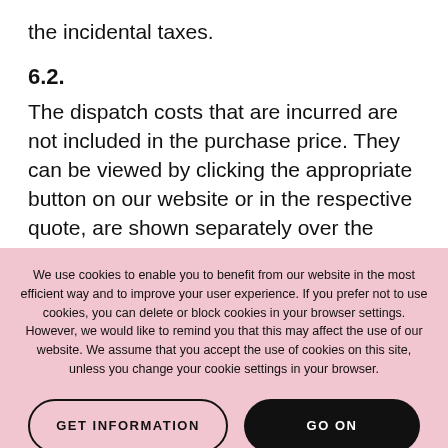the incidental taxes.
6.2.
The dispatch costs that are incurred are not included in the purchase price. They can be viewed by clicking the appropriate button on our website or in the respective quote, are shown separately over the course of the order transaction and must additionally be borne by you, insofar as free
We use cookies to enable you to benefit from our website in the most efficient way and to improve your user experience. If you prefer not to use cookies, you can delete or block cookies in your browser settings. However, we would like to remind you that this may affect the use of our website. We assume that you accept the use of cookies on this site, unless you change your cookie settings in your browser.
GET INFORMATION
GO ON